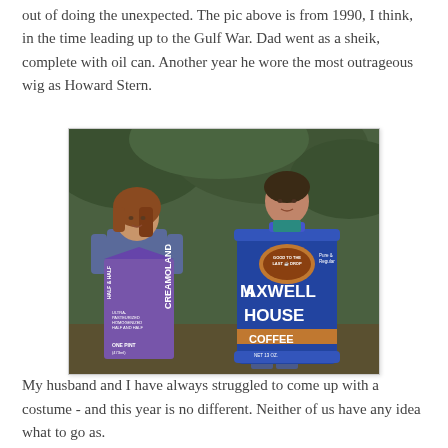out of doing the unexpected. The pic above is from 1990, I think, in the time leading up to the Gulf War. Dad went as a sheik, complete with oil can. Another year he wore the most outrageous wig as Howard Stern.
[Figure (photo): A couple in Halloween costumes. The woman is dressed as a Creamoland Half & Half milk carton (purple carton). The man is wearing a Maxwell House Coffee can costume (blue can). They are standing outdoors in front of green foliage.]
My husband and I have always struggled to come up with a costume - and this year is no different. Neither of us have any idea what to go as.